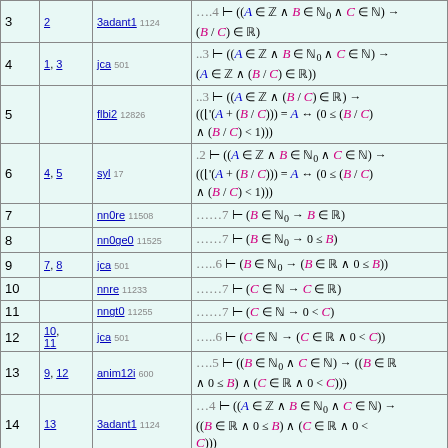| # | Refs | Rule | Formula |
| --- | --- | --- | --- |
| 3 | 2 | 3adant1 1124 | ....4 ⊢ ((A ∈ ℤ ∧ B ∈ ℕ₀ ∧ C ∈ ℕ) → (B / C) ∈ ℝ) |
| 4 | 1, 3 | jca 501 | ..3 ⊢ ((A ∈ ℤ ∧ B ∈ ℕ₀ ∧ C ∈ ℕ) → (A ∈ ℤ ∧ (B / C) ∈ ℝ)) |
| 5 |  | flbi2 12826 | ..3 ⊢ ((A ∈ ℤ ∧ (B / C) ∈ ℝ) → ((⌊'(A + (B / C))) = A ↔ (0 ≤ (B / C) ∧ (B / C) < 1))) |
| 6 | 4, 5 | syl 17 | ..2 ⊢ ((A ∈ ℤ ∧ B ∈ ℕ₀ ∧ C ∈ ℕ) → ((⌊'(A + (B / C))) = A ↔ (0 ≤ (B / C) ∧ (B / C) < 1))) |
| 7 |  | nn0re 11508 | ......7 ⊢ (B ∈ ℕ₀ → B ∈ ℝ) |
| 8 |  | nn0ge0 11525 | ......7 ⊢ (B ∈ ℕ₀ → 0 ≤ B) |
| 9 | 7, 8 | jca 501 | .....6 ⊢ (B ∈ ℕ₀ → (B ∈ ℝ ∧ 0 ≤ B)) |
| 10 |  | nnre 11233 | ......7 ⊢ (C ∈ ℕ → C ∈ ℝ) |
| 11 |  | nngt0 11255 | ......7 ⊢ (C ∈ ℕ → 0 < C) |
| 12 | 10, 11 | jca 501 | .....6 ⊢ (C ∈ ℕ → (C ∈ ℝ ∧ 0 < C)) |
| 13 | 9, 12 | anim12i 600 | ....5 ⊢ ((B ∈ ℕ₀ ∧ C ∈ ℕ) → ((B ∈ ℝ ∧ 0 ≤ B) ∧ (C ∈ ℝ ∧ 0 < C))) |
| 14 | 13 | 3adant1 1124 | ...4 ⊢ ((A ∈ ℤ ∧ B ∈ ℕ₀ ∧ C ∈ ℕ) → ((B ∈ ℝ ∧ 0 ≤ B) ∧ (C ∈ ℝ ∧ 0 < C))) |